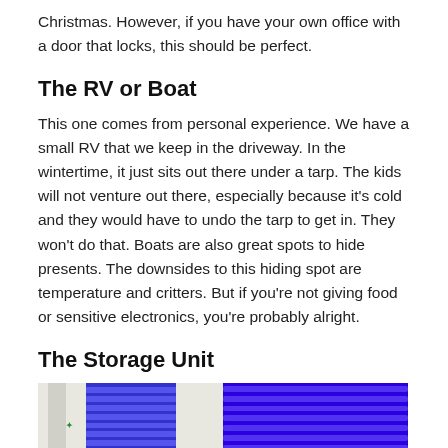Christmas. However, if you have your own office with a door that locks, this should be perfect.
The RV or Boat
This one comes from personal experience. We have a small RV that we keep in the driveway. In the wintertime, it just sits out there under a tarp. The kids will not venture out there, especially because it's cold and they would have to undo the tarp to get in. They won't do that. Boats are also great spots to hide presents. The downsides to this hiding spot are temperature and critters. But if you're not giving food or sensitive electronics, you're probably alright.
The Storage Unit
[Figure (photo): Two storage unit doors side by side — left shows a white wall with a blue roll-up door, right shows a close-up of a bright blue corrugated roll-up door.]